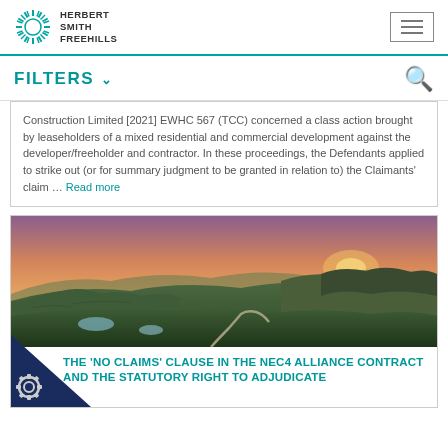Herbert Smith Freehills
FILTERS
Construction Limited [2021] EWHC 567 (TCC) concerned a class action brought by leaseholders of a mixed residential and commercial development against the developer/freeholder and contractor. In these proceedings, the Defendants applied to strike out (or for summary judgment to be granted in relation to) the Claimants' claim … Read more
[Figure (photo): Landscape photo of Scottish highlands at sunset, showing green rolling hills, small lakes, a winding path, and dramatic sky with orange and purple hues]
THE 'NO CLAIMS' CLAUSE IN THE NEC4 ALLIANCE CONTRACT AND THE STATUTORY RIGHT TO ADJUDICATE